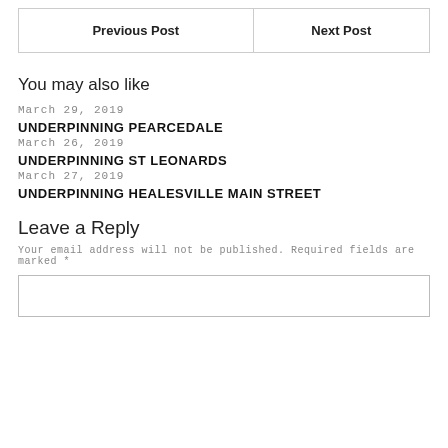| Previous Post | Next Post |
| --- | --- |
You may also like
March 29, 2019
UNDERPINNING PEARCEDALE
March 26, 2019
UNDERPINNING ST LEONARDS
March 27, 2019
UNDERPINNING HEALESVILLE MAIN STREET
Leave a Reply
Your email address will not be published. Required fields are marked *